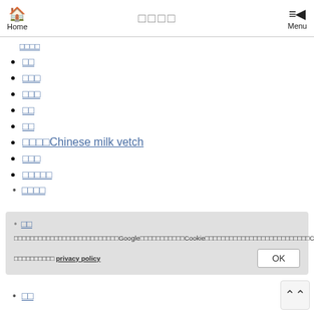Home  □□□□  Menu
□□□□ (link at top)
□□
□□□
□□□
□□
□□
□□□□Chinese milk vetch
□□□
□□□□□
□□□□ (partially hidden by cookie banner)
□□ (partially hidden by cookie banner)
□□
Cookie banner: □□□□□□□□□□□□□□□□□□□□□Google□□□□□□□□□□□Cookie□□□□□□□□□□□□□□□□□□□□□□Cookie□□□□□□   □□□□□□□□□□ privacy policy   OK